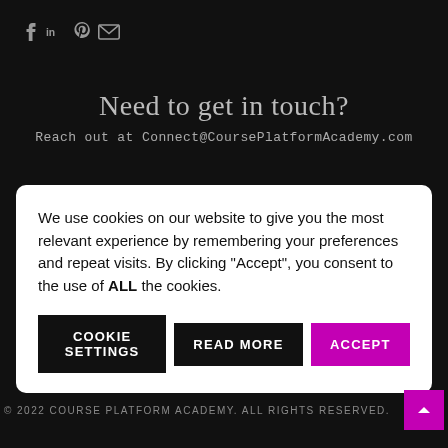[Figure (other): Social media icons: Facebook, LinkedIn, Pinterest, Email]
Need to get in touch?
Reach out at Connect@CoursePlatformAcademy.com
We use cookies on our website to give you the most relevant experience by remembering your preferences and repeat visits. By clicking "Accept", you consent to the use of ALL the cookies.
COOKIE SETTINGS | READ MORE | ACCEPT
© 2022 COURSE PLATFORM ACADEMY. ALL RIGHTS RESERVED.